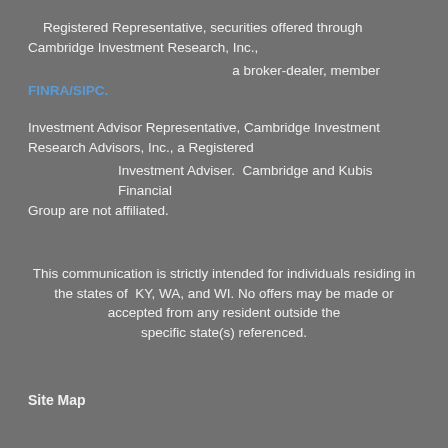Registered Representative, securities offered through Cambridge Investment Research, Inc., a broker-dealer, member FINRA/SIPC.
Investment Advisor Representative, Cambridge Investment Research Advisors, Inc., a Registered Investment Adviser. Cambridge and Kubis Financial Group are not affiliated.
This communication is strictly intended for individuals residing in the states of KY, WA, and WI. No offers may be made or accepted from any resident outside the specific state(s) referenced.
Site Map